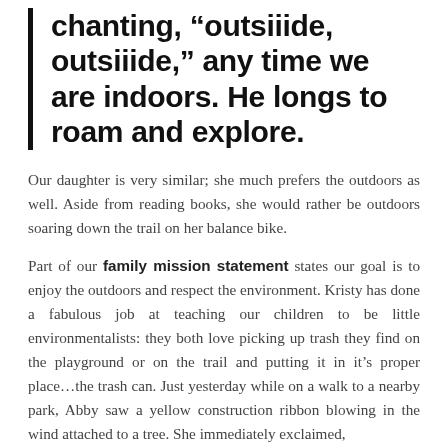chanting, “outsiiide, outsiiide,” any time we are indoors. He longs to roam and explore.
Our daughter is very similar; she much prefers the outdoors as well. Aside from reading books, she would rather be outdoors soaring down the trail on her balance bike.
Part of our family mission statement states our goal is to enjoy the outdoors and respect the environment. Kristy has done a fabulous job at teaching our children to be little environmentalists: they both love picking up trash they find on the playground or on the trail and putting it in it’s proper place…the trash can. Just yesterday while on a walk to a nearby park, Abby saw a yellow construction ribbon blowing in the wind attached to a tree. She immediately exclaimed,